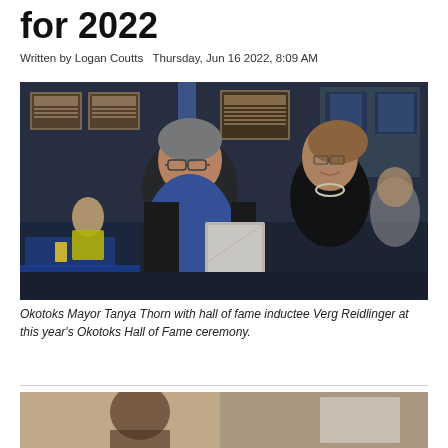for 2022
Written by Logan Coutts  Thursday, Jun 16 2022, 8:09 AM
[Figure (photo): Okotoks Mayor Tanya Thorn with hall of fame inductee Verg Reidlinger at this year's Okotoks Hall of Fame ceremony. Two people standing together, one holding a framed award/plaque, in an indoor venue with framed plaques on the wall behind them.]
Okotoks Mayor Tanya Thorn with hall of fame inductee Verg Reidlinger at this year's Okotoks Hall of Fame ceremony.
[Figure (photo): Partial view of another photo at the bottom of the page, partially cropped.]